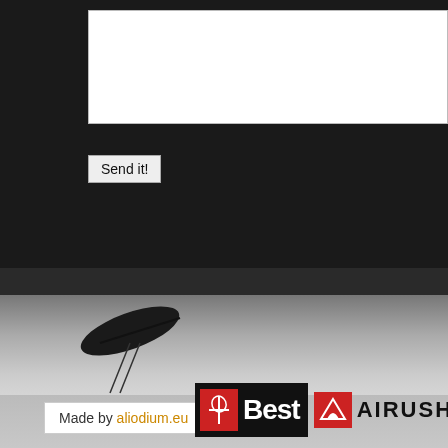[Figure (screenshot): Dark background section with white text input box and Send it! button]
Send it!
[Figure (photo): Kiteboarding action photo - black and white image of a kite surfer against misty background]
[Figure (logo): Best kiteboarding logo - black background with red square icon and white Bold text saying Best, followed by Airush logo with red icon and black bold text AIRUSH]
Kite škola a kurzy
Půjčovna a výlety
Ubytování
Kapverdské ostrovy
Počasí
Vítr a vlny
Ostrov Sal
Made by aliodium.eu